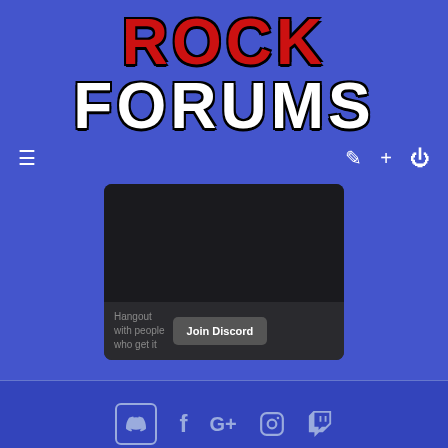ROCK FORUMS
[Figure (screenshot): Discord embed widget with dark background showing 'Hangout with people who get it' text and a 'Join Discord' button]
[Figure (infographic): Footer social media icons: Discord, Facebook, Google+, Instagram, Twitch]